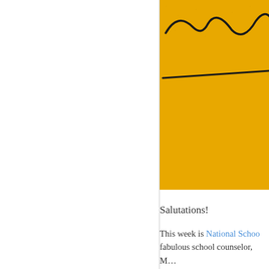[Figure (illustration): Yellow background image with handwritten cursive text visible at top and a horizontal dark line, partially cropped on the right side of the page]
Salutations!
This week is National Schoo… fabulous school counselor, M…
And give yourselves a pat o… who's also a teacher here in… toured where he saw actual s… and was the school he and h… hugs and high fives during t… school. Y'all are a bunch of…
Eighteen items of note for th…